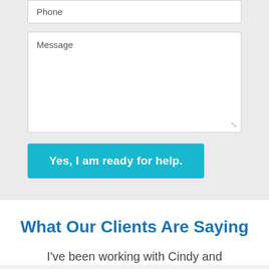Phone
Message
Yes, I am ready for help.
What Our Clients Are Saying
I've been working with Cindy and